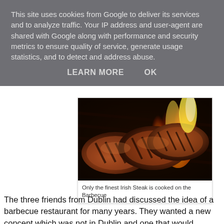This site uses cookies from Google to deliver its services and to analyze traffic. Your IP address and user-agent are shared with Google along with performance and security metrics to ensure quality of service, generate usage statistics, and to detect and address abuse.
LEARN MORE    OK
[Figure (photo): Grilled steaks cooking on a barbecue grill with open flames visible in the background]
Only the finest Irish Steak is cooked on the Barbecue
The three friends from Dublin had discussed the idea of a barbecue restaurant for many years. They wanted a new concept which was not in Dublin and one that would impress. Following some great meals in restaurants while on holiday in Spain and Portugal, the idea of using this type of barbecue grill, with all the theatre that goes with it, was born.